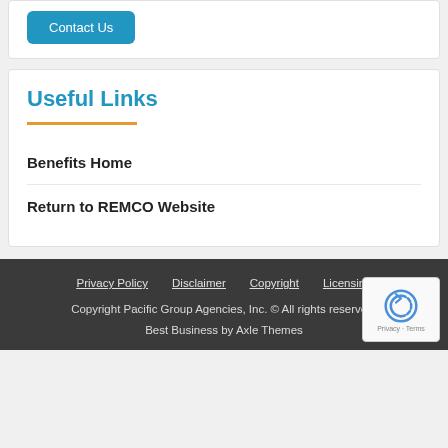[Figure (other): Contact Us button - blue rounded rectangle with white text]
Useful Links
Benefits Home
Return to REMCO Website
Privacy Policy   Disclaimer   Copyright   Licensing
Copyright Pacific Group Agencies, Inc. © All rights reserved.
Best Business by Axle Themes